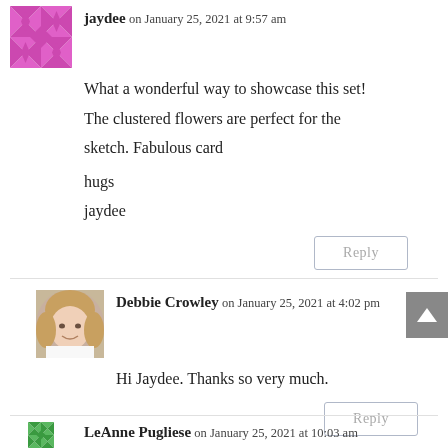jaydee on January 25, 2021 at 9:57 am
What a wonderful way to showcase this set! The clustered flowers are perfect for the sketch. Fabulous card
hugs
jaydee
Reply
Debbie Crowley on January 25, 2021 at 4:02 pm
Hi Jaydee. Thanks so very much.
Reply
LeAnne Pugliese on January 25, 2021 at 10:03 am